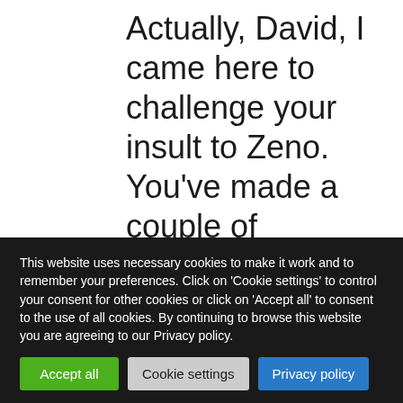Actually, David, I came here to challenge your insult to Zeno. You've made a couple of extremely nasty assertions about him that you are unable to justify. If you behave like that, you can
This website uses necessary cookies to make it work and to remember your preferences. Click on 'Cookie settings' to control your consent for other cookies or click on 'Accept all' to consent to the use of all cookies. By continuing to browse this website you are agreeing to our Privacy policy.